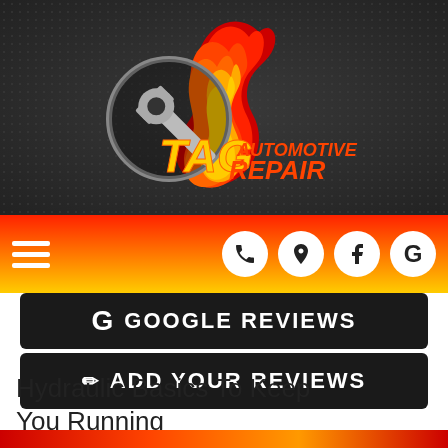[Figure (logo): TAG Automotive Repair logo with wrench and flame graphic, yellow and red text on dark background]
[Figure (infographic): Navigation bar with hamburger menu icon on left and four circular icon buttons (phone, location, Facebook, Google) on right, on a red-to-yellow gradient background]
G GOOGLE REVIEWS
✏ ADD YOUR REVIEWS
Hydraulic Basics To Keep You Running